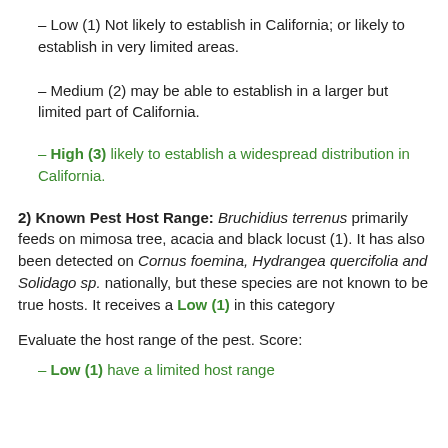– Low (1) Not likely to establish in California; or likely to establish in very limited areas.
– Medium (2) may be able to establish in a larger but limited part of California.
– High (3) likely to establish a widespread distribution in California.
2) Known Pest Host Range: Bruchidius terrenus primarily feeds on mimosa tree, acacia and black locust (1). It has also been detected on Cornus foemina, Hydrangea quercifolia and Solidago sp. nationally, but these species are not known to be true hosts. It receives a Low (1) in this category
Evaluate the host range of the pest. Score:
– Low (1) have a limited host range